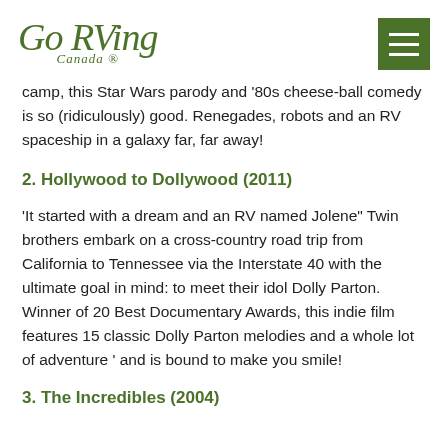Go RVing Canada
camp, this Star Wars parody and ‘80s cheese-ball comedy is so (ridiculously) good. Renegades, robots and an RV spaceship in a galaxy far, far away!
2. Hollywood to Dollywood (2011)
‘It started with a dream and an RV named Jolene” Twin brothers embark on a cross-country road trip from California to Tennessee via the Interstate 40 with the ultimate goal in mind: to meet their idol Dolly Parton. Winner of 20 Best Documentary Awards, this indie film features 15 classic Dolly Parton melodies and a whole lot of adventure ‘ and is bound to make you smile!
3. The Incredibles (2004)